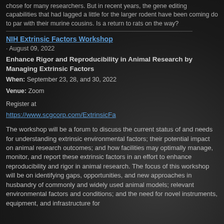chose for many researchers. But in recent years, the gene editing capabilities that had lagged a little for the larger rodent have been coming do to par with their murine cousins. Is a return to rats on the way?
NIH Extrinsic Factors Workshop
August 09, 2022
Enhance Rigor and Reproducibility in Animal Research by Managing Extrinsic Factors
When: September 23, 28, and 30, 2022
Venue: Zoom
Register at
https://www.scgcorp.com/ExtrinsicFa
The workshop will be a forum to discuss the current status of and needs for understanding extrinsic environmental factors; their potential impact on animal research outcomes; and how facilities may optimally manage, monitor, and report these extrinsic factors in an effort to enhance reproducibility and rigor in animal research. The focus of this workshop will be on identifying gaps, opportunities, and new approaches in husbandry of commonly and widely used animal models; relevant environmental factors and conditions; and the need for novel instruments, equipment, and infrastructure for